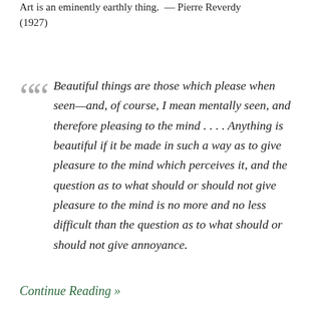Art is an eminently earthly thing. — Pierre Reverdy (1927)
Beautiful things are those which please when seen—and, of course, I mean mentally seen, and therefore pleasing to the mind . . . . Anything is beautiful if it be made in such a way as to give pleasure to the mind which perceives it, and the question as to what should or should not give pleasure to the mind is no more and no less difficult than the question as to what should or should not give annoyance.
Continue Reading »